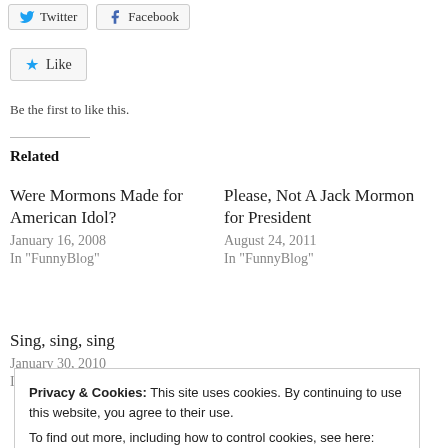[Figure (other): Twitter and Facebook share buttons at top]
[Figure (other): Like button with blue star icon]
Be the first to like this.
Related
Were Mormons Made for American Idol?
January 16, 2008
In "FunnyBlog"
Please, Not A Jack Mormon for President
August 24, 2011
In "FunnyBlog"
Sing, sing, sing
January 30, 2010
In "Abigail"
Privacy & Cookies: This site uses cookies. By continuing to use this website, you agree to their use.
To find out more, including how to control cookies, see here: Cookie Policy
Close and accept